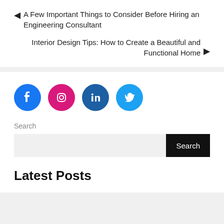◄ A Few Important Things to Consider Before Hiring an Engineering Consultant
Interior Design Tips: How to Create a Beautiful and Functional Home ►
[Figure (infographic): Four social media icon circles: Facebook (blue), Instagram (pink/magenta), LinkedIn (dark blue), Twitter (light blue)]
Search
Latest Posts